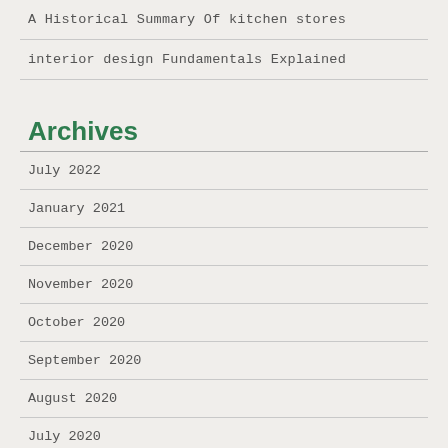A Historical Summary Of kitchen stores
interior design Fundamentals Explained
Archives
July 2022
January 2021
December 2020
November 2020
October 2020
September 2020
August 2020
July 2020
June 2020
May 2020